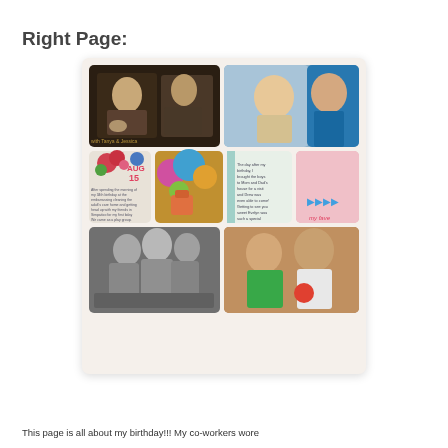Right Page:
[Figure (photo): A scrapbook-style photo collage page with 6 photos arranged in a grid: top row shows two people at a restaurant/kitchen setting (left) and a smiling baby with woman in blue top (right); middle row shows a decorative card with AUG 15 and floral design, a photo with balloons and a gift bag, a journaling card with text, and a pink card with arrows; bottom row shows three women in black and white photo (left) and a baby/toddler in green shirt with woman (right).]
This page is all about my birthday!!!  My co-workers wore